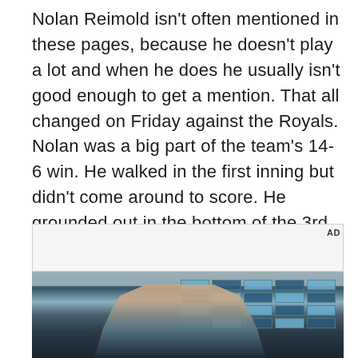Nolan Reimold isn't often mentioned in these pages, because he doesn't play a lot and when he does he usually isn't good enough to get a mention. That all changed on Friday against the Royals. Nolan was a big part of the team's 14-6 win. He walked in the first inning but didn't come around to score. He grounded out in the bottom of the 3rd and walked again in the bottom of the 5th.  In the bottom of the 7th, he popped out to shortstop.
[Figure (photo): Advertisement box with gray background and AD label, followed by a photograph of a young man in a denim jacket standing in front of a wall with blue grid-patterned windows in what appears to be a restaurant or shop interior.]